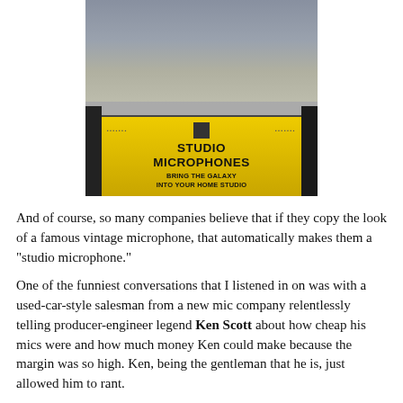[Figure (photo): Photo of a trade show booth display table with microphones on top, and a yellow sign reading 'STUDIO MICROPHONES / BRING THE GALAXY INTO YOUR HOME STUDIO']
And of course, so many companies believe that if they copy the look of a famous vintage microphone, that automatically makes them a "studio microphone."
One of the funniest conversations that I listened in on was with a used-car-style salesman from a new mic company relentlessly telling producer-engineer legend Ken Scott about how cheap his mics were and how much money Ken could make because the margin was so high. Ken, being the gentleman that he is, just allowed him to rant.